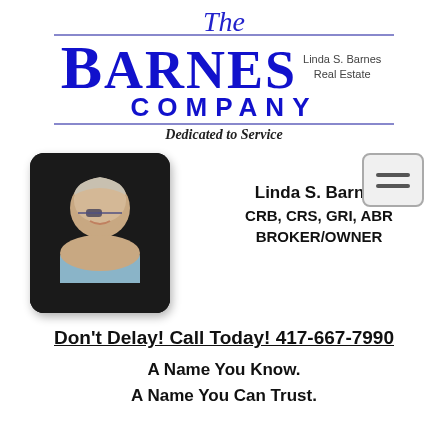[Figure (logo): The Barnes Company logo with 'The' in italic script, 'BARNES' in large blue serif font, 'Linda S. Barnes Real Estate' centered, and 'COMPANY' in blue spaced caps, with horizontal rules above and below]
Dedicated to Service
[Figure (photo): Professional headshot of Linda S. Barnes, a woman with light curly hair and glasses, wearing a light blue blazer, on a dark background]
Linda S. Barnes
CRB, CRS, GRI, ABR
BROKER/OWNER
Don't Delay! Call Today!  417-667-7990
A Name You Know.
A Name You Can Trust.